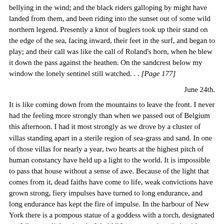bellying in the wind; and the black riders galloping by might have landed from them, and been riding into the sunset out of some wild northern legend. Presently a knot of buglers took up their stand on the edge of the sea, facing inward, their feet in the surf, and began to play; and their call was like the call of Roland's horn, when he blew it down the pass against the heathen. On the sandcrest below my window the lonely sentinel still watched. . . [Page 177]
June 24th.
It is like coming down from the mountains to leave the front. I never had the feeling more strongly than when we passed out of Belgium this afternoon. I had it most strongly as we drove by a cluster of villas standing apart in a sterile region of sea-grass and sand. In one of those villas for nearly a year, two hearts at the highest pitch of human constancy have held up a light to the world. It is impossible to pass that house without a sense of awe. Because of the light that comes from it, dead faiths have come to life, weak convictions have grown strong, fiery impulses have turned to long endurance, and long endurance has kept the fire of impulse. In the harbour of New York there is a pompous statue of a goddess with a torch, designated as "Liberty enlightening the World." It seems as though the title on her pedestal might well, for the time, be [Page 178] transferred to the lintel of that villa in the dunes.
On leaving St. Omer we to—